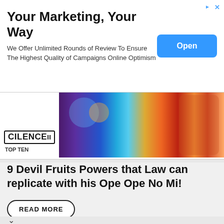[Figure (screenshot): Top advertisement banner: 'Your Marketing, Your Way' with Open button]
Your Marketing, Your Way
We Offer Unlimited Rounds of Review To Ensure The Highest Quality of Campaigns Online Optimism
[Figure (screenshot): Anime carousel banner with SILENCE logo and TOP TEN label, colorful anime characters]
9 Devil Fruits Powers that Law can replicate with his Ope Ope No Mi!
READ MORE
[Figure (screenshot): Peacock Original 'THEY/THEM' advertisement with Stream Now button]